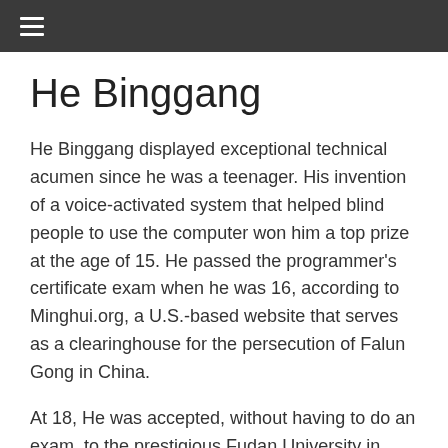≡
He Binggang
He Binggang displayed exceptional technical acumen since he was a teenager. His invention of a voice-activated system that helped blind people to use the computer won him a top prize at the age of 15. He passed the programmer's certificate exam when he was 16, according to Minghui.org, a U.S.-based website that serves as a clearinghouse for the persecution of Falun Gong in China.
At 18, He was accepted, without having to do an exam, to the prestigious Fudan University in Shanghai. Four years later, he was again accepted without an exam to graduate school at the